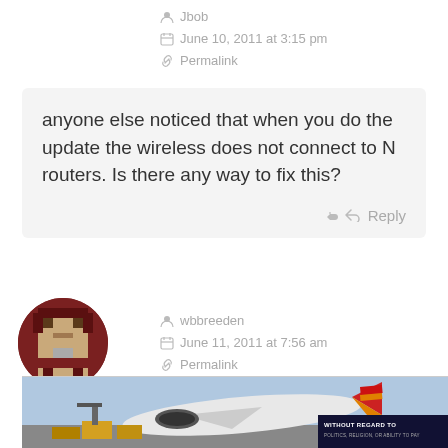Jbob
June 10, 2011 at 3:15 pm
Permalink
anyone else noticed that when you do the update the wireless does not connect to N routers. Is there any way to fix this?
Reply
[Figure (illustration): Circular pixel-art avatar of a character with dark red background]
wbbreeden
June 11, 2011 at 7:56 am
Permalink
[Figure (photo): Advertisement banner showing an airplane being loaded with cargo, with text overlay 'WITHOUT REGARD TO POLITICS, RELIGION, OR ABILITY TO PAY']